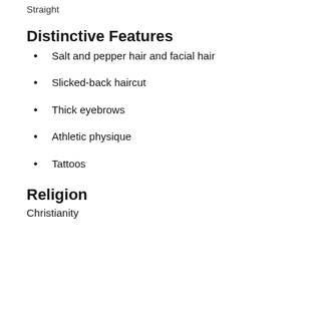Straight
Distinctive Features
Salt and pepper hair and facial hair
Slicked-back haircut
Thick eyebrows
Athletic physique
Tattoos
Religion
Christianity